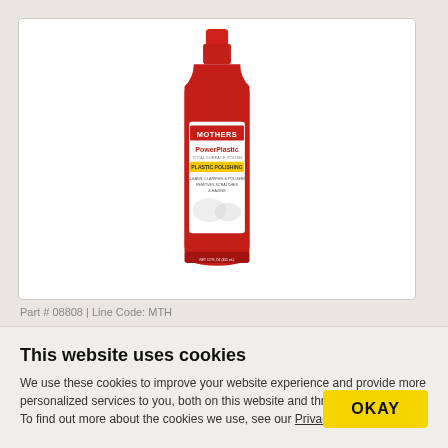[Figure (photo): Red bottle of Mothers PowerPlastic plastic polish product with red cap]
Part # 08808 | Line Code: MTH
$11.49
[Figure (logo): MOTHERS Polishes•Waxes•Cleaners brand logo in red]
This website uses cookies
We use these cookies to improve your website experience and provide more personalized services to you, both on this website and through other media. To find out more about the cookies we use, see our Privacy Policy.
OKAY